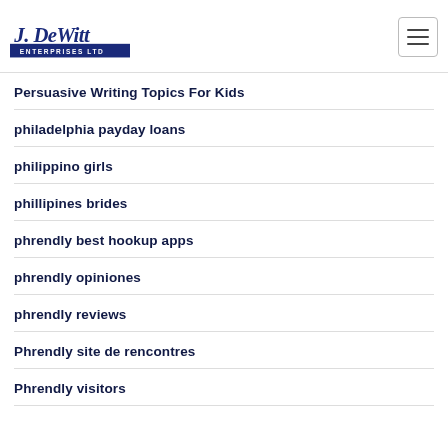J. DeWitt Enterprises Ltd
Persuasive Writing Topics For Kids
philadelphia payday loans
philippino girls
phillipines brides
phrendly best hookup apps
phrendly opiniones
phrendly reviews
Phrendly site de rencontres
Phrendly visitors